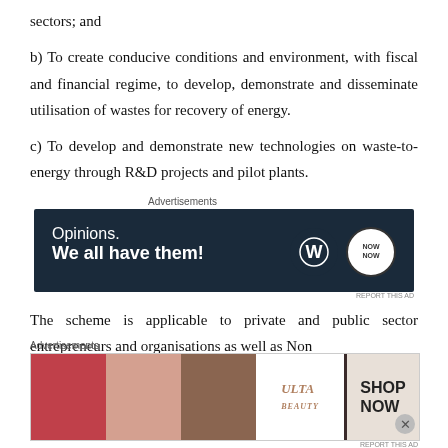sectors; and
b) To create conducive conditions and environment, with fiscal and financial regime, to develop, demonstrate and disseminate utilisation of wastes for recovery of energy.
c) To develop and demonstrate new technologies on waste-to-energy through R&D projects and pilot plants.
[Figure (other): Advertisement banner: dark navy background with text 'Opinions. We all have them!' and WordPress and NowNow logos]
The scheme is applicable to private and public sector entrepreneurs and organisations as well as Non
[Figure (other): Advertisement banner: Ulta Beauty cosmetics advertisement with SHOP NOW text]